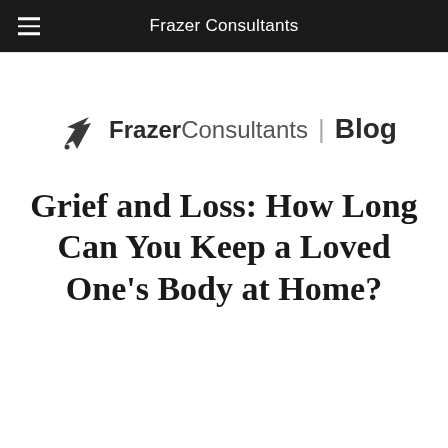Frazer Consultants
[Figure (logo): Frazer Consultants Blog logo with arrow/pen icon]
Grief and Loss: How Long Can You Keep a Loved One’s Body at Home?